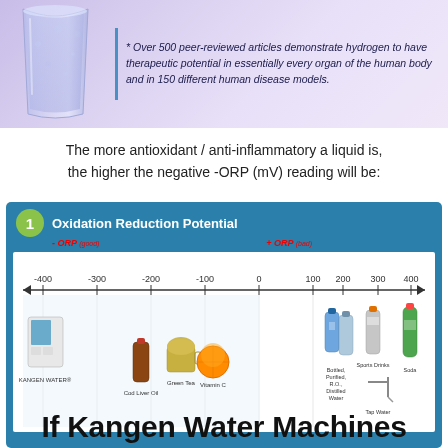[Figure (infographic): Top banner with a glass of hydrogen water and a quote about over 500 peer-reviewed articles demonstrating hydrogen's therapeutic potential in every organ and 150 disease models.]
The more antioxidant / anti-inflammatory a liquid is, the higher the negative -ORP (mV) reading will be:
[Figure (infographic): Oxidation Reduction Potential (ORP) diagram labeled '1', showing a scale from -400 to +400 mV. Negative ORP side shows Kangen Water machine, Cod Liver Oil, Green Tea, Vitamin C. Positive ORP side shows Bottled/Purified/R.O./Distilled Water, Sports Drinks, Tap Water, Soda.]
If Kangen Water Machines